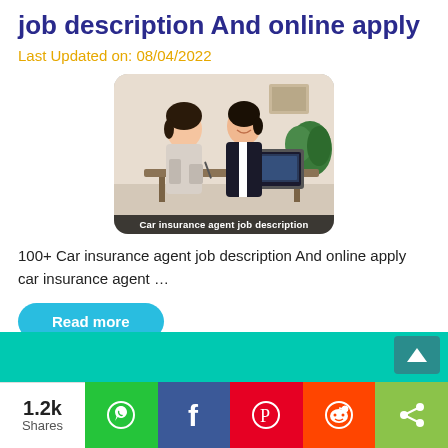job description And online apply
Last Updated on: 08/04/2022
[Figure (photo): Two women in a business setting, one in a suit smiling, working on a laptop. Caption bar reads: Car insurance agent job description]
100+ Car insurance agent job description And online apply car insurance agent …
Read more
1.2k Shares